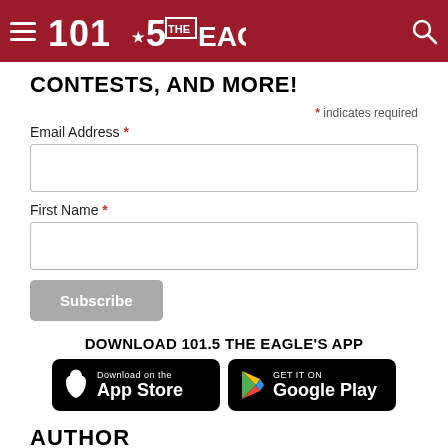[Figure (logo): 101.5 The Eagle radio station header bar with hamburger menu, logo, and search icon on dark red background]
CONTESTS, AND MORE!
* indicates required
Email Address *
First Name *
Subscribe
DOWNLOAD 101.5 THE EAGLE'S APP
[Figure (screenshot): App Store and Google Play download badges on black rounded rectangles]
AUTHOR